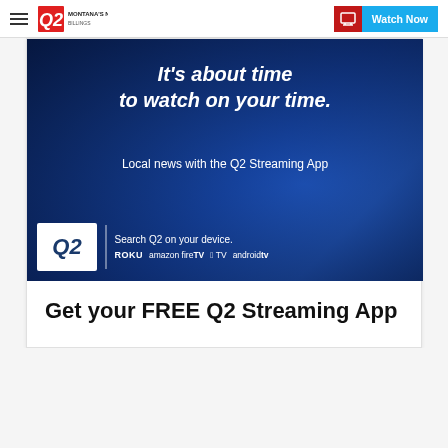Q2 MONTANA'S NEWS LEADER | Watch Now
[Figure (screenshot): Q2 Streaming App advertisement banner with dark blue background. Text reads: It's about time to watch on your time. Local news with the Q2 Streaming App. Search Q2 on your device. Logos: Roku, amazon fireTV, Apple TV, androidtv.]
Get your FREE Q2 Streaming App